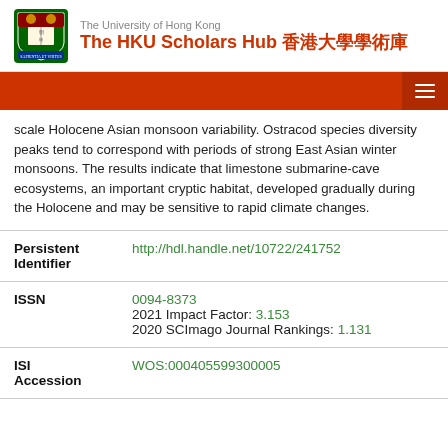The University of Hong Kong | The HKU Scholars Hub 香港大學學術庫
scale Holocene Asian monsoon variability. Ostracod species diversity peaks tend to correspond with periods of strong East Asian winter monsoons. The results indicate that limestone submarine-cave ecosystems, an important cryptic habitat, developed gradually during the Holocene and may be sensitive to rapid climate changes.
| Field | Value |
| --- | --- |
| Persistent Identifier | http://hdl.handle.net/10722/241752 |
| ISSN | 0094-8373
2021 Impact Factor: 3.153
2020 SCImago Journal Rankings: 1.131 |
| ISI Accession | WOS:000405599300005 |